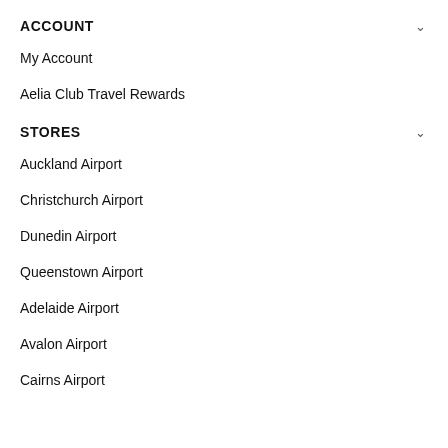ACCOUNT
My Account
Aelia Club Travel Rewards
STORES
Auckland Airport
Christchurch Airport
Dunedin Airport
Queenstown Airport
Adelaide Airport
Avalon Airport
Cairns Airport